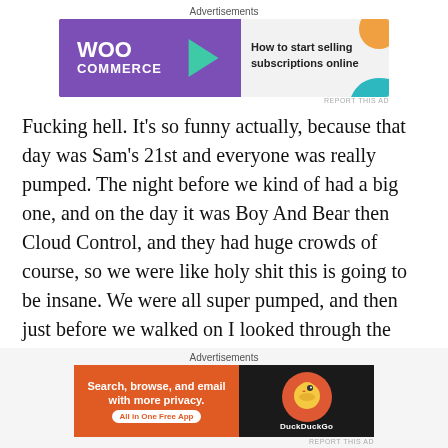[Figure (other): WooCommerce advertisement banner: 'How to start selling subscriptions online']
Fucking hell. It's so funny actually, because that day was Sam's 21st and everyone was really pumped. The night before we kind of had a big one, and on the day it was Boy And Bear then Cloud Control, and they had huge crowds of course, so we were like holy shit this is going to be insane. We were all super pumped, and then just before we walked on I looked through the curtains and there was no joke probably like fifty people there. And that was such a massive blow to the ego. And then we went on thinking just oh well, fuck. I didn't even realise, but by halfway
[Figure (other): DuckDuckGo advertisement banner: 'Search, browse, and email with more privacy. All in One Free App']